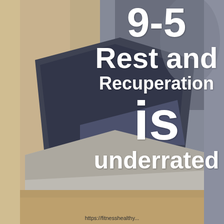[Figure (photo): Background photo of a laptop open on a wooden desk surface, with blurred office/workspace background. A person is partially visible in the background. The image spans the full page with warm tan/beige tones on the left and cooler blue-grey tones on the right.]
9-5
Rest and
Recuperation
is
underrated
https://fitnesshealthy...